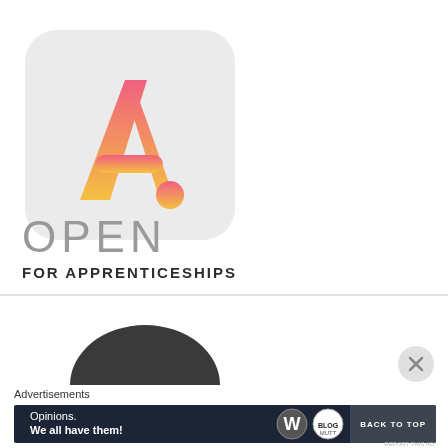[Figure (logo): Apprenticeships open logo: a triangle/chevron shape with gradient from pink/red at top to orange/yellow at bottom, with an exclamation dot, on a light grey rounded rectangle background]
OPEN
FOR APPRENTICESHIPS
[Figure (illustration): Dark grey semicircle at bottom of upper section]
Advertisements
[Figure (infographic): Advertisement banner: 'Opinions. We all have them!' with WordPress and Blog Mutt logos, and BACK TO TOP button]